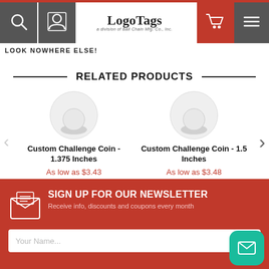LogoTags - a division of Ball Chain Mfg. Co., Inc.
LOOK NOWHERE ELSE!
RELATED PRODUCTS
Custom Challenge Coin - 1.375 Inches
As low as $3.43
Custom Challenge Coin - 1.5 Inches
As low as $3.48
SIGN UP FOR OUR NEWSLETTER
Receive info, discounts and coupons every month